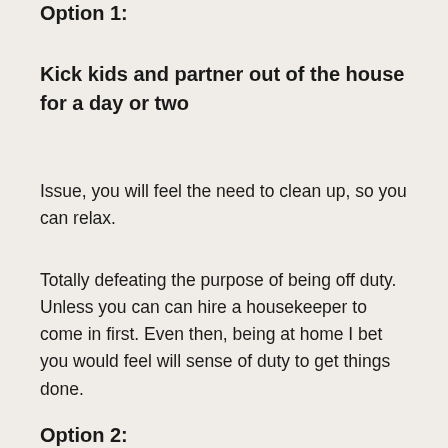Option 1:
Kick kids and partner out of the house for a day or two
Issue, you will feel the need to clean up, so you can relax.
Totally defeating the purpose of being off duty. Unless you can can hire a housekeeper to come in first. Even then, being at home I bet you would feel will sense of duty to get things done.
Option 2: